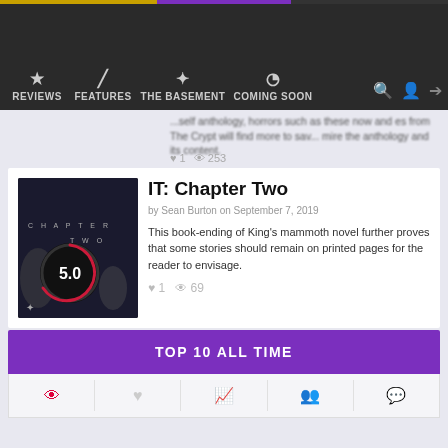REVIEWS | FEATURES | THE BASEMENT | COMING SOON
...self anthology, horrors such as these now and es from The Crypt will find more to sav... mire the anthology and its content.
IT: Chapter Two
by Sean Burton on September 7, 2019
This book-ending of King's mammoth novel further proves that some stories should remain on printed pages for the reader to envisage.
TOP 10 ALL TIME
1  Edge of Fear